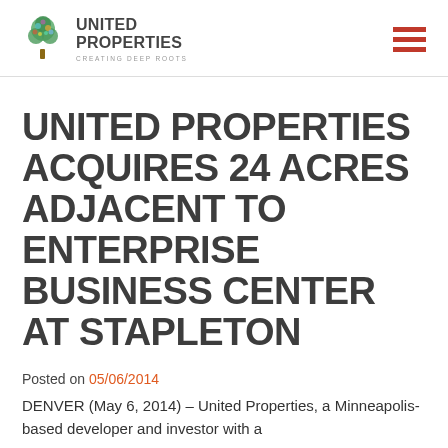UNITED PROPERTIES — CREATING DEEP ROOTS
UNITED PROPERTIES ACQUIRES 24 ACRES ADJACENT TO ENTERPRISE BUSINESS CENTER AT STAPLETON
Posted on 05/06/2014
DENVER (May 6, 2014) – United Properties, a Minneapolis-based developer and investor with a